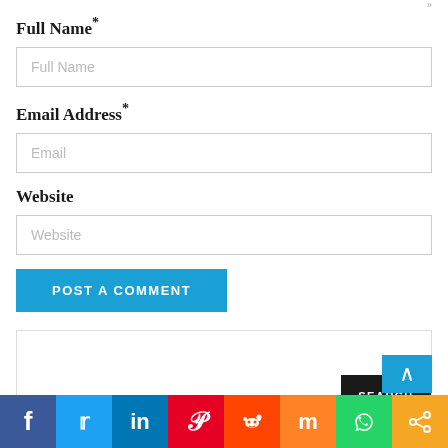Full Name*
[Figure (screenshot): Full Name input field with placeholder text 'Full Name']
Email Address*
[Figure (screenshot): Email input field with placeholder text 'Email']
Website
[Figure (screenshot): Website input field with placeholder text 'Website']
[Figure (screenshot): Blue button labeled 'POST A COMMENT']
[Figure (screenshot): Search box area with SEARCH button]
[Figure (screenshot): Social media sharing bar with icons: Facebook, Twitter, LinkedIn, Pinterest, Reddit, Mix, WhatsApp, Share]